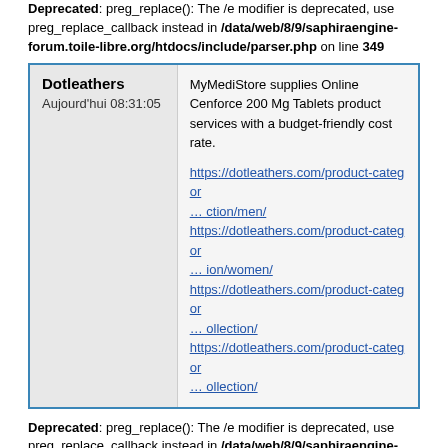Deprecated: preg_replace(): The /e modifier is deprecated, use preg_replace_callback instead in /data/web/8/9/saphiraengine-forum.toile-libre.org/htdocs/include/parser.php on line 349
| Dotleathers
Aujourd'hui 08:31:05 | MyMediStore supplies Online Cenforce 200 Mg Tablets product services with a budget-friendly cost rate.

https://dotleathers.com/product-categor… ction/men/
https://dotleathers.com/product-categor… ion/women/
https://dotleathers.com/product-categor… ollection/
https://dotleathers.com/product-categor… ollection/ |
| --- | --- |
Deprecated: preg_replace(): The /e modifier is deprecated, use preg_replace_callback instead in /data/web/8/9/saphiraengine-forum.toile-libre.org/htdocs/include/parser.php on line 348
Deprecated: preg_replace(): The /e modifier is deprecated, use preg_replace_callback instead in /data/web/8/9/saphiraengine-forum.toile-libre.org/htdocs/include/parser.php on line 349
Deprecated: preg_replace(): The /e modifier is deprecated, use preg_replace_callback instead in /data/web/8/9/saphiraengine-forum.toile-libre.org/htdocs/include/parser.php on line 333
Deprecated: preg_replace(): The /e modifier is deprecated, use preg_replace_callback instead in /data/web/8/9/saphiraengine-forum.toile-libre.org/htdocs/include/parser.php on line 333
Deprecated: preg_replace(): The /e modifier is deprecated, use preg_replace_callback instead in /data/web/8/9/saphiraengine-forum.toile-libre.org/htdocs/include/parser.php on line ...